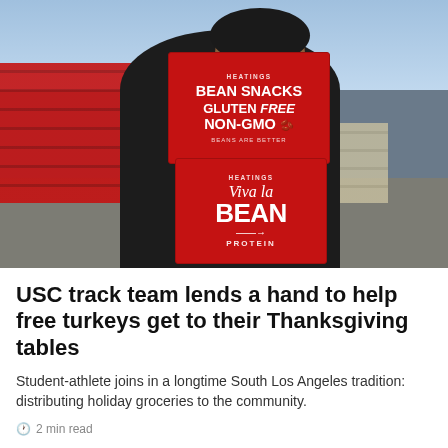[Figure (photo): A smiling young woman in a black long-sleeve shirt holds two large red boxes stacked on top of each other. The top box reads 'BEAN SNACKS GLUTEN Free NON-GMO' and the bottom box reads 'VIVA la BEAN PROTEIN'. She is standing outdoors in what appears to be a parking lot with stacked pallets of similar red boxes visible in the background, and palm trees and utility poles in the sky behind her.]
USC track team lends a hand to help free turkeys get to their Thanksgiving tables
Student-athlete joins in a longtime South Los Angeles tradition: distributing holiday groceries to the community.
2 min read